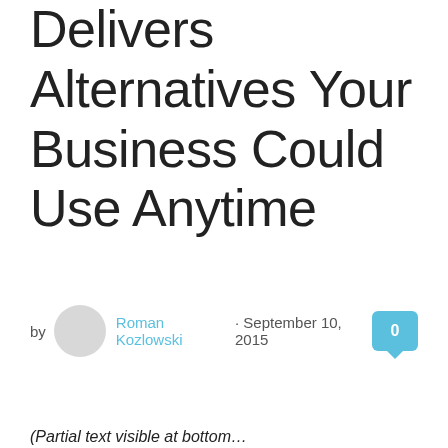Delivers Alternatives Your Business Could Use Anytime
by Roman Kozlowski · September 10, 2015
(Partial text visible at bottom)